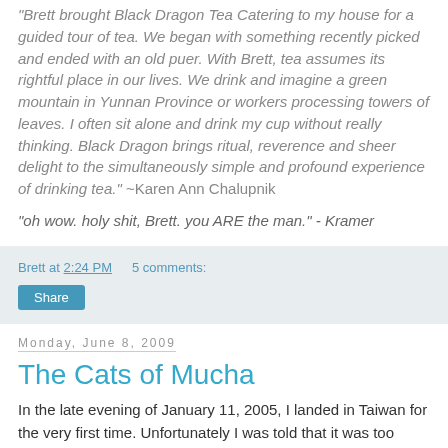"Brett brought Black Dragon Tea Catering to my house for a guided tour of tea. We began with something recently picked and ended with an old puer. With Brett, tea assumes its rightful place in our lives. We drink and imagine a green mountain in Yunnan Province or workers processing towers of leaves. I often sit alone and drink my cup without really thinking. Black Dragon brings ritual, reverence and sheer delight to the simultaneously simple and profound experience of drinking tea." ~Karen Ann Chalupnik
"oh wow. holy shit, Brett. you ARE the man." - Kramer
Brett at 2:24 PM    5 comments:
Share
Monday, June 8, 2009
The Cats of Mucha
In the late evening of January 11, 2005, I landed in Taiwan for the very first time. Unfortunately I was told that it was too